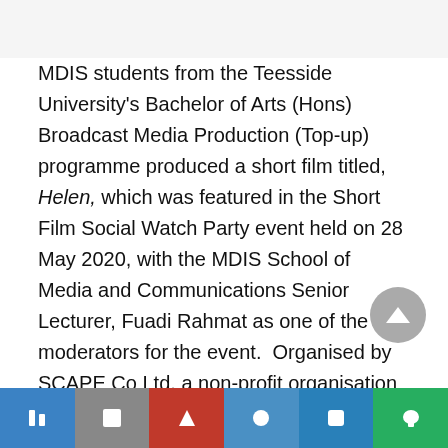MDIS students from the Teesside University's Bachelor of Arts (Hons) Broadcast Media Production (Top-up) programme produced a short film titled, Helen, which was featured in the Short Film Social Watch Party event held on 28 May 2020, with the MDIS School of Media and Communications Senior Lecturer, Fuadi Rahmat as one of the moderators for the event.  Organised by SCAPE Co Ltd, a non-profit organisation that supports youth, talent and leadership development,  the  film  was shown alongside